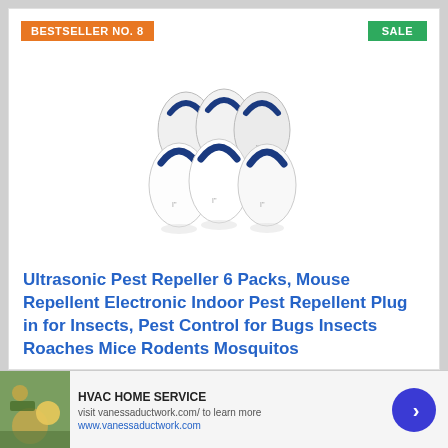BESTSELLER NO. 8
SALE
[Figure (photo): Six ultrasonic pest repeller devices arranged in two rows of three, white with blue stripe, plug-in style]
Ultrasonic Pest Repeller 6 Packs, Mouse Repellent Electronic Indoor Pest Repellent Plug in for Insects, Pest Control for Bugs Insects Roaches Mice Rodents Mosquitos
HVAC HOME SERVICE
visit vanessaductwork.com/ to learn more
www.vanessaductwork.com